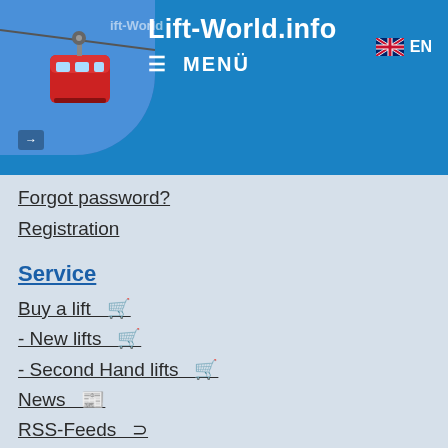Lift-World.info  MENÜ  EN
Forgot password?
Registration
Service
Buy a lift  🛒
- New lifts  🛒
- Second Hand lifts  🛒
News  📰
RSS-Feeds  ⊃
Links
Contact  ✉
Support us  ⊕
Disclaimer
Cookie Policy
Privacy Policy  🔍